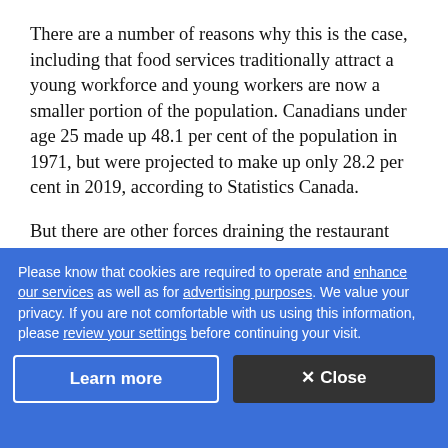There are a number of reasons why this is the case, including that food services traditionally attract a young workforce and young workers are now a smaller portion of the population. Canadians under age 25 made up 48.1 per cent of the population in 1971, but were projected to make up only 28.2 per cent in 2019, according to Statistics Canada.
But there are other forces draining the restaurant labour pool. The overall unemployment rate reached [obscured by overlay] while [obscured] of jobs.
Please know that cookies are required to operate and enhance our services as well as for advertising purposes. We value your privacy. If you are not comfortable with us using this information, please review your settings before continuing your visit.
These are the companies where Canadian